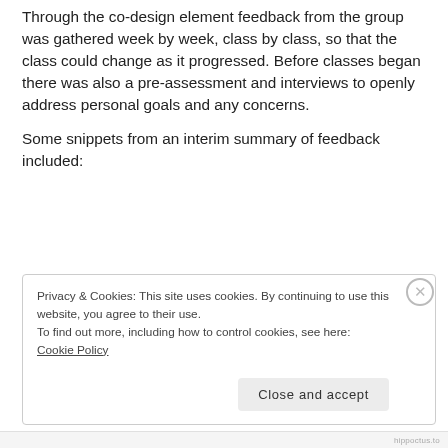Through the co-design element feedback from the group was gathered week by week, class by class, so that the class could change as it progressed. Before classes began there was also a pre-assessment and interviews to openly address personal goals and any concerns.
Some snippets from an interim summary of feedback included:
Privacy & Cookies: This site uses cookies. By continuing to use this website, you agree to their use.
To find out more, including how to control cookies, see here:
Cookie Policy
hippoctus.to